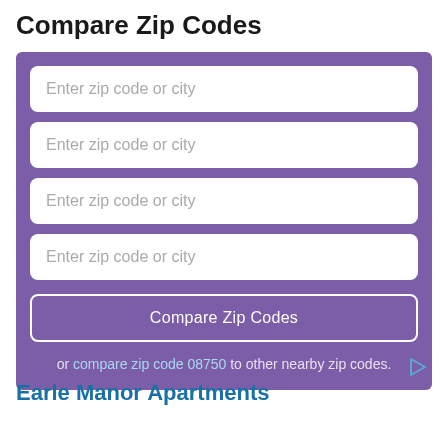Compare Zip Codes
[Figure (screenshot): A purple form box with four text input fields each labeled 'Enter zip code or city', a 'Compare Zip Codes' button, and a link reading 'or compare zip code 08750 to other nearby zip codes.']
Earle Manor Apartments